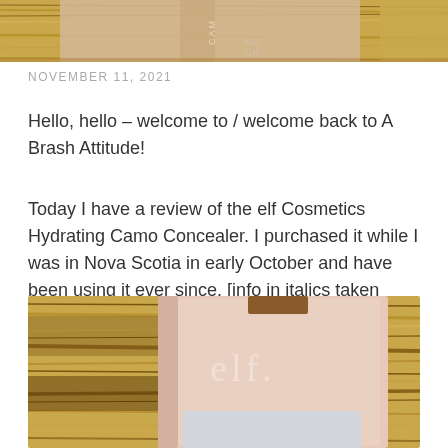[Figure (photo): Top cropped photo showing cosmetic products on a wooden surface with visible partial text 'CAMO CONTOUR']
NOVEMBER 11, 2021
Hello, hello – welcome to / welcome back to A Brash Attitude!
Today I have a review of the elf Cosmetics Hydrating Camo Concealer. I purchased it while I was in Nova Scotia in early October and have been using it ever since. [info in italics taken from the elf Cosmetics website]
[Figure (photo): Photo of elf Cosmetics concealer product in peachy-pink packaging with 'elf.' logo on a wooden surface]